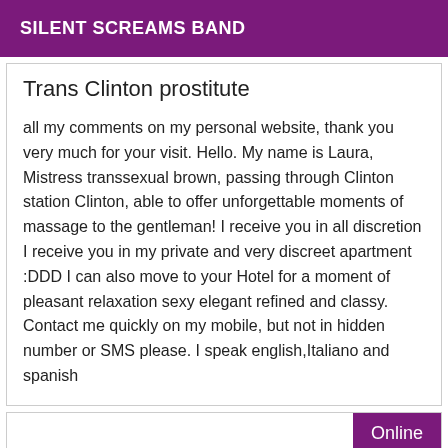SILENT SCREAMS BAND
Trans Clinton prostitute
all my comments on my personal website, thank you very much for your visit. Hello. My name is Laura, Mistress transsexual brown, passing through Clinton station Clinton, able to offer unforgettable moments of massage to the gentleman! I receive you in all discretion I receive you in my private and very discreet apartment :DDD I can also move to your Hotel for a moment of pleasant relaxation sexy elegant refined and classy. Contact me quickly on my mobile, but not in hidden number or SMS please. I speak english,Italiano and spanish
Online